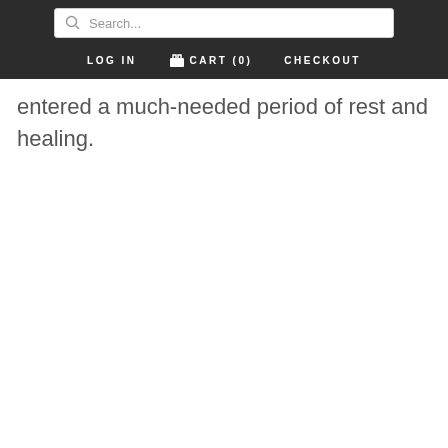Search... | LOG IN | CART (0) | CHECKOUT
entered a much-needed period of rest and healing.